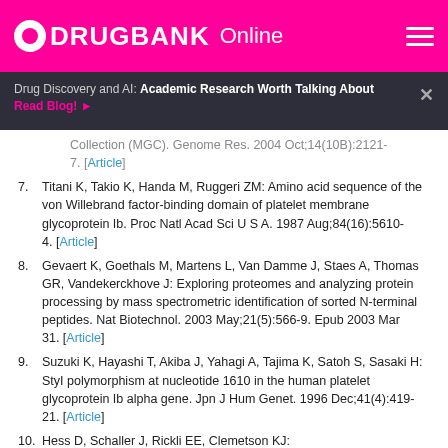DRUGBANK Online
Drug Discovery and AI: Academic Research Worth Talking About Read Blog!
Collection (MGC). Genome Res. 2004 Oct;14(10B):2121-7. [Article]
7. Titani K, Takio K, Handa M, Ruggeri ZM: Amino acid sequence of the von Willebrand factor-binding domain of platelet membrane glycoprotein Ib. Proc Natl Acad Sci U S A. 1987 Aug;84(16):5610-4. [Article]
8. Gevaert K, Goethals M, Martens L, Van Damme J, Staes A, Thomas GR, Vandekerckhove J: Exploring proteomes and analyzing protein processing by mass spectrometric identification of sorted N-terminal peptides. Nat Biotechnol. 2003 May;21(5):566-9. Epub 2003 Mar 31. [Article]
9. Suzuki K, Hayashi T, Akiba J, Yahagi A, Tajima K, Satoh S, Sasaki H: StyI polymorphism at nucleotide 1610 in the human platelet glycoprotein Ib alpha gene. Jpn J Hum Genet. 1996 Dec;41(4):419-21. [Article]
10. Hess D, Schaller J, Rickli EE, Clemetson KJ: